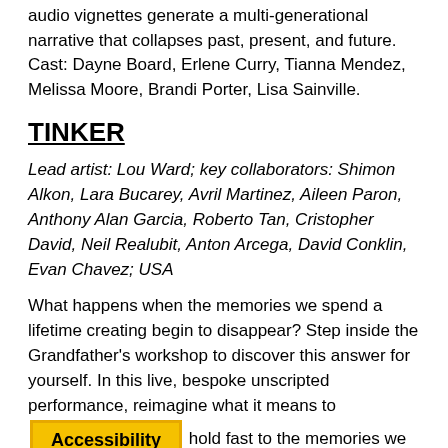audio vignettes generate a multi-generational narrative that collapses past, present, and future. Cast: Dayne Board, Erlene Curry, Tianna Mendez, Melissa Moore, Brandi Porter, Lisa Sainville.
TINKER
Lead artist: Lou Ward; key collaborators: Shimon Alkon, Lara Bucarey, Avril Martinez, Aileen Paron, Anthony Alan Garcia, Roberto Tan, Cristopher David, Neil Realubit, Anton Arcega, David Conklin, Evan Chavez; USA
What happens when the memories we spend a lifetime creating begin to disappear? Step inside the Grandfather's workshop to discover this answer for yourself. In this live, bespoke unscripted performance, reimagine what it means to [Accessibility] hold fast to the memories we create. Cast: Randy Dixon.
TO MISS THE ENDING